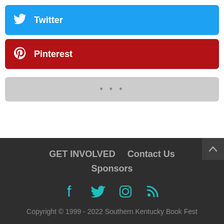[Figure (other): Twitter share button (blue background with Twitter bird icon and bold white text 'Twitter')]
[Figure (other): Pinterest share button (dark red background with Pinterest icon and bold white text 'Pinterest')]
[Figure (other): More options button (gray background with three dots '...')]
GET INVOLVED   Contact Us
Sponsors
[Figure (other): Social media icons row: Facebook, Twitter, Instagram, RSS — in teal/cyan color]
Copyright © 1999 - 2022 Southern Kentucky Book Fest